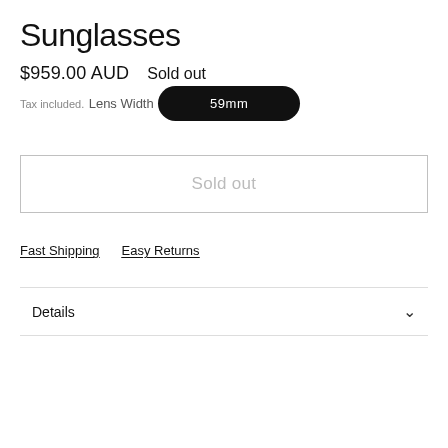Sunglasses
$959.00 AUD   Sold out
Tax included.
Lens Width
59mm
Sold out
Fast Shipping
Easy Returns
Details